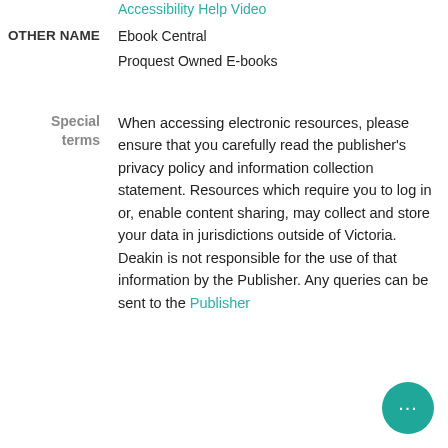Accessibility Help Video
OTHER NAME
Ebook Central
Proquest Owned E-books
Special terms  When accessing electronic resources, please ensure that you carefully read the publisher's privacy policy and information collection statement. Resources which require you to log in or, enable content sharing, may collect and store your data in jurisdictions outside of Victoria. Deakin is not responsible for the use of that information by the Publisher. Any queries can be sent to the Publisher.